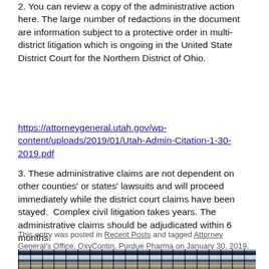2. You can review a copy of the administrative action here. The large number of redactions in the document are information subject to a protective order in multi-district litigation which is ongoing in the United State District Court for the Northern District of Ohio.
https://attorneygeneral.utah.gov/wp-content/uploads/2019/01/Utah-Admin-Citation-1-30-2019.pdf
3. These administrative claims are not dependent on other counties' or states' lawsuits and will proceed immediately while the district court claims have been stayed.  Complex civil litigation takes years. The administrative claims should be adjudicated within 6 months.
This entry was posted in Recent Posts and tagged Attorney General's Office, OxyContin, Purdue Pharma on January 30, 2019.
[Figure (photo): A photograph showing what appears to be sewing machine/industrial machinery or similar equipment with vertical bars/slats visible in the foreground.]